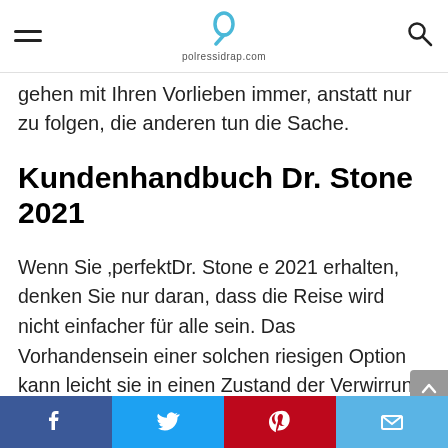polressidrap.com
gehen mit Ihren Vorlieben immer, anstatt nur zu folgen, die anderen tun die Sache.
Kundenhandbuch Dr. Stone 2021
Wenn Sie ,perfektDr. Stone e 2021 erhalten, denken Sie nur daran, dass die Reise wird nicht einfacher für alle sein. Das Vorhandensein einer solchen riesigen Option kann leicht sie in einen Zustand der Verwirrung, die ziemlich schwer zu brechen manchmal. Um Ihnen bei Ihrer Reise zu helfen, haben wir unten eine vollständige Liste, die jedem
Facebook Twitter Pinterest Mail